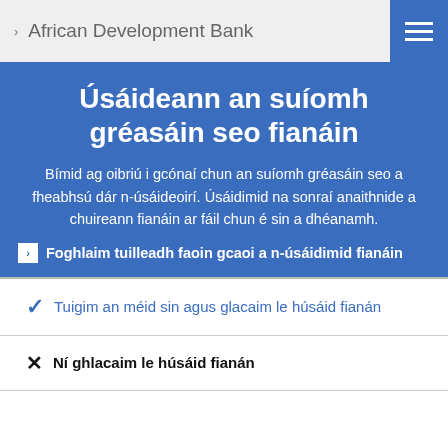African Development Bank
Úsáideann an suíomh gréasáin seo fianáin
Bímid ag oibriú i gcónaí chun an suíomh gréasáin seo a fheabhsú dár n-úsáideoirí. Úsáidimid na sonraí anaithnide a chuireann fianáin ar fáil chun é sin a dhéanamh.
Foghlaim tuilleadh faoin gcaoi a n-úsáidimid fianáin
Tuigim an méid sin agus glacaim le húsáid fianán
Ní ghlacaim le húsáid fianán